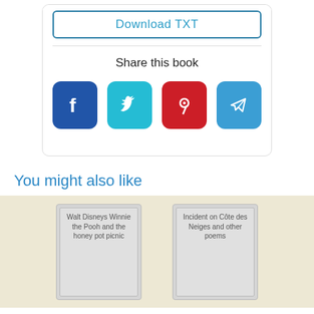[Figure (screenshot): Download TXT button with border, Share this book text, and four social media icons: Facebook (blue), Twitter (teal), Pinterest (red), Telegram (blue)]
You might also like
[Figure (screenshot): Two book recommendation cards on beige background: 'Walt Disneys Winnie the Pooh and the honey pot picnic' and 'Incident on Côte des Neiges and other poems']